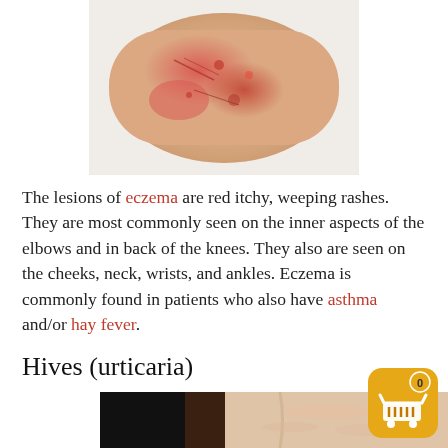[Figure (photo): Close-up photo of an arm showing red, inflamed eczema rash lesions]
The lesions of eczema are red itchy, weeping rashes. They are most commonly seen on the inner aspects of the elbows and in back of the knees. They also are seen on the cheeks, neck, wrists, and ankles. Eczema is commonly found in patients who also have asthma and/or hay fever.
Hives (urticaria)
[Figure (photo): Close-up photo of skin showing hives/urticaria raised welts]